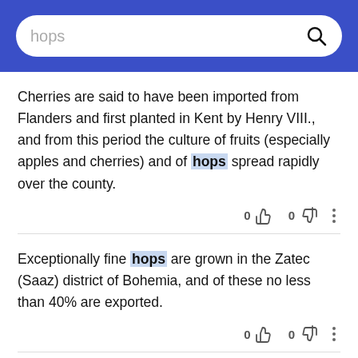hops [search bar]
Cherries are said to have been imported from Flanders and first planted in Kent by Henry VIII., and from this period the culture of fruits (especially apples and cherries) and of hops spread rapidly over the county.
Exceptionally fine hops are grown in the Zatec (Saaz) district of Bohemia, and of these no less than 40% are exported.
The chief agricultural products are potatoes and